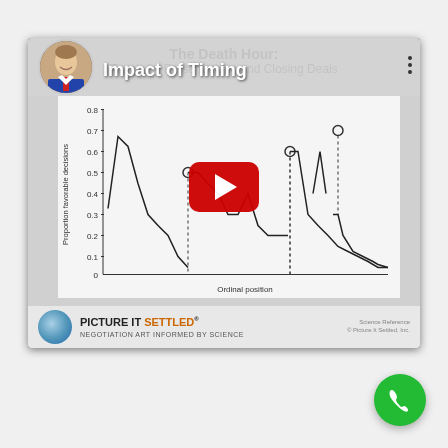[Figure (screenshot): YouTube video thumbnail showing 'The Death Hour: Impact of Timing — Tough for Presentations and Closing Deals' by Picture It Settled. Contains a line chart with 'Proportion favorable decisions' on y-axis (0 to 0.8) and 'Ordinal position' on x-axis, showing a declining trend with periodic resets. A red YouTube play button overlays the chart. Bottom branding shows 'Picture It Settled — Negotiation Art Informed by Science' logo.]
[Figure (other): Green circular phone/call button in the bottom-right corner of the page.]